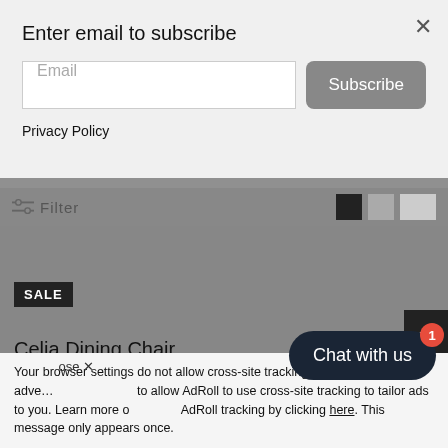Enter email to subscribe
Email
Subscribe
Privacy Policy
Filter
SALE
Celia Dining Chair
7080
$ 445.00  $ 489.00  Save $ 44
[Figure (photo): Partial view of a dining chair in grey/dark tones]
Chat with us
Your browser settings do not allow cross-site tracking for advertising. Visit your browser settings to allow AdRoll to use cross-site tracking to tailor ads to you. Learn more or opt out of this AdRoll tracking by clicking here. This message only appears once.